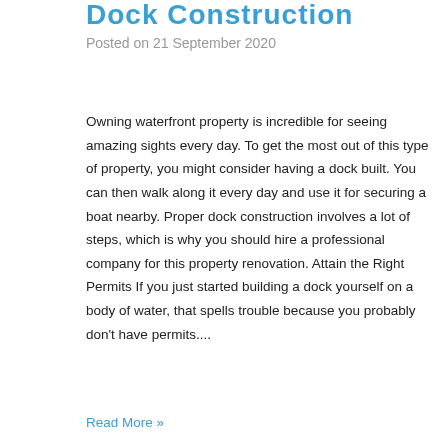Dock Construction
Posted on 21 September 2020
Owning waterfront property is incredible for seeing amazing sights every day. To get the most out of this type of property, you might consider having a dock built. You can then walk along it every day and use it for securing a boat nearby. Proper dock construction involves a lot of steps, which is why you should hire a professional company for this property renovation. Attain the Right Permits If you just started building a dock yourself on a body of water, that spells trouble because you probably don't have permits....
Read More »